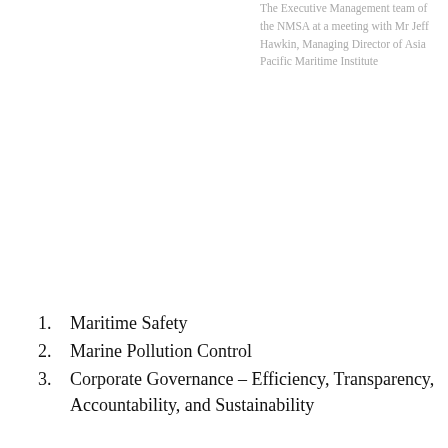The Executive Management team of the NMSA at a meeting with Mr Jeff Hawkin, Managing Director of Asia Pacific Maritime Institute
1. Maritime Safety
2. Marine Pollution Control
3. Corporate Governance – Efficiency, Transparency, Accountability, and Sustainability
Since its inception in 2003, the entity has had quite a colourful history regarding a number of issues which have been reported widely in the PNG Media. Most of those issues stemmed from the Authority simply doing its job in inspecting both local and foreign vessels operating in PNG and making sure ship owners were complying with shipping rules and regulations (both Lutheran Shipping and Rabaul